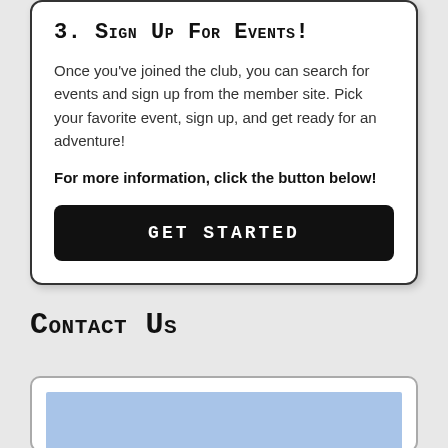3. Sign Up for Events!
Once you've joined the club, you can search for events and sign up from the member site. Pick your favorite event, sign up, and get ready for an adventure!
For more information, click the button below!
[Figure (other): Black button with white uppercase text reading GET STARTED]
Contact Us
[Figure (other): White card with a light blue rectangle placeholder, partially visible at bottom of page]